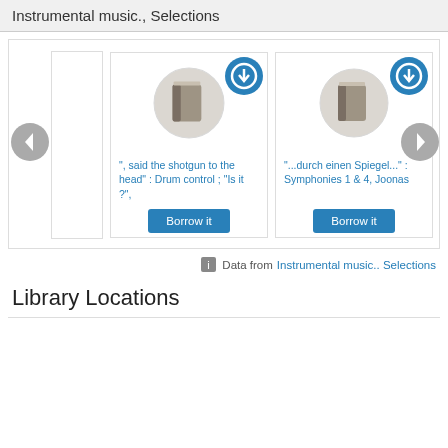Instrumental music., Selections
[Figure (screenshot): Library catalog carousel showing two book items with blue download icons, book cover placeholder icons, titles in blue, and 'Borrow it' buttons. Left navigation arrow and right navigation arrow visible. First visible card title: '", said the shotgun to the head" : Drum control ; "Is it ?",'. Second card title: '"...durch einen Spiegel..." : Symphonies 1 & 4, Joonas'.]
Data from Instrumental music.. Selections
Library Locations